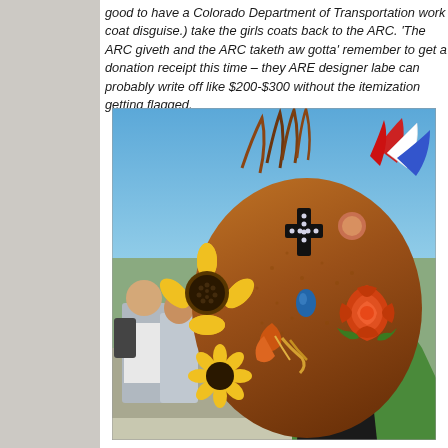good to have a Colorado Department of Transportation work coat disguise.) take the girls coats back to the ARC. 'The ARC giveth and the ARC taketh aw gotta' remember to get a donation receipt this time – they ARE designer labe can probably write off like $200-$300 without the itemization getting flagged.
[Figure (photo): A person wearing an elaborate decorated mask/hat made of burlap or tweed material, adorned with a sunflower on the left side, an orange rose on the right, a jeweled cross in the center, a blue pendant, orange crab claw decorations, and colorful feathers (red, white, blue) on the top right. The person is wearing a black hoodie and a green jacket. In the background are other people and a blue sky.]